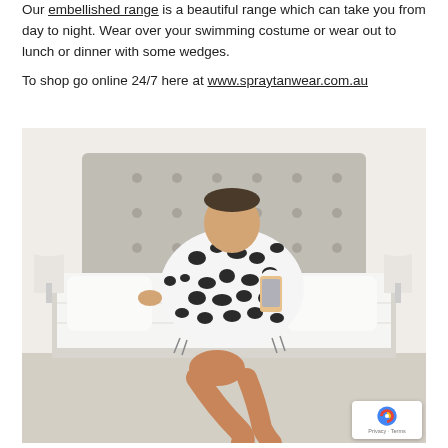Our embellished range is a beautiful range which can take you from day to night. Wear over your swimming costume or wear out to lunch or dinner with some wedges.
To shop go online 24/7 here at www.spraytanwear.com.au
[Figure (photo): A woman wearing a black and white leopard print kaftan/cover-up, sitting on the edge of a bed with a white tufted headboard, taking a mirror selfie with her phone. She is barefoot with tanned legs crossed. The room has white bedding and bedside lamps.]